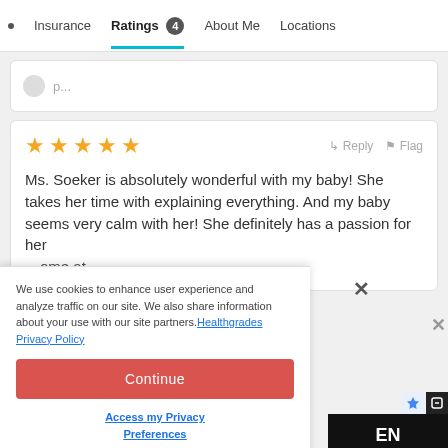Insurance | Ratings 4 | About Me | Locations
Ms. Soeker is absolutely wonderful with my baby! She takes her time with explaining everything. And my baby seems very calm with her! She definitely has a passion for her ... ome at
We use cookies to enhance user experience and analyze traffic on our site. We also share information about your use with our site partners. Healthgrades Privacy Policy
Continue
Access my Privacy Preferences